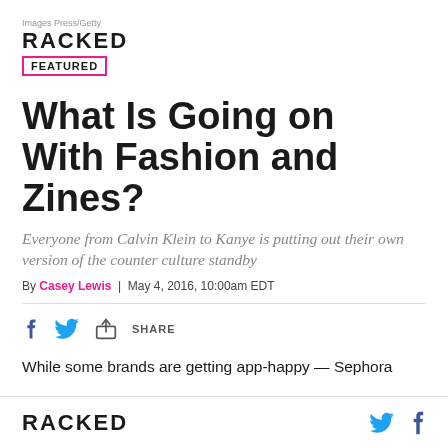Images Press/Getty
RACKED
FEATURED
What Is Going on With Fashion and Zines?
Everyone from Calvin Klein to Kanye is putting out their own version of the counter culture standby
By Casey Lewis | May 4, 2016, 10:00am EDT
SHARE
While some brands are getting app-happy — Sephora
RACKED